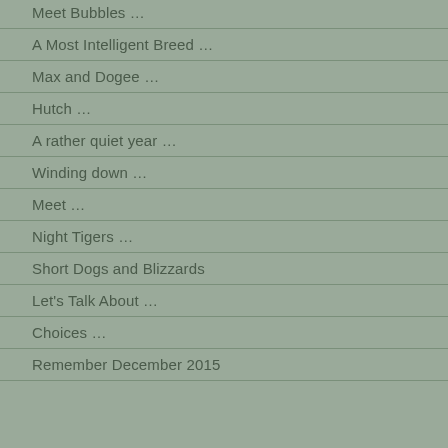Meet Bubbles …
A Most Intelligent Breed …
Max and Dogee …
Hutch …
A rather quiet year …
Winding down …
Meet …
Night Tigers …
Short Dogs and Blizzards
Let's Talk About …
Choices …
Remember December 2015